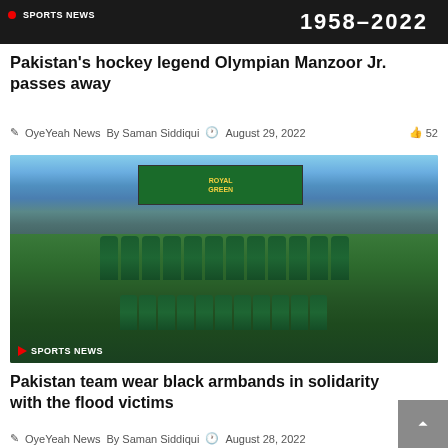[Figure (photo): Sports news banner showing '1958-2022' text on dark background with 'SPORTS NEWS' badge]
Pakistan's hockey legend Olympian Manzoor Jr. passes away
OyeYeah News  By Saman Siddiqui  August 29, 2022  52
[Figure (photo): Pakistan cricket team group photo in green uniforms at a stadium with 'ROYAL GREEN' scoreboard visible. SPORTS NEWS badge in bottom left.]
Pakistan team wear black armbands in solidarity with the flood victims
OyeYeah News  By Saman Siddiqui  August 28, 2022  23